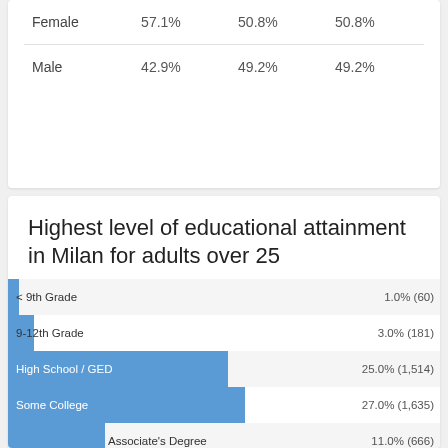|  |  |  |  |
| --- | --- | --- | --- |
| Female | 57.1% | 50.8% | 50.8% |
| Male | 42.9% | 49.2% | 49.2% |
Highest level of educational attainment in Milan for adults over 25
[Figure (bar-chart): Highest level of educational attainment in Milan for adults over 25]